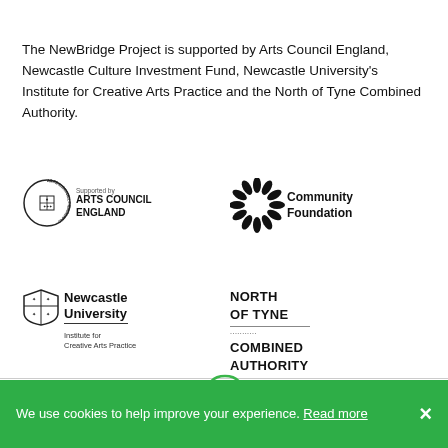The NewBridge Project is supported by Arts Council England, Newcastle Culture Investment Fund, Newcastle University's Institute for Creative Arts Practice and the North of Tyne Combined Authority.
[Figure (logo): Arts Council England logo with circular text and shield emblem, with 'Supported by ARTS COUNCIL ENGLAND' text]
[Figure (logo): Community Foundation logo with sunburst/flower shape and 'Community Foundation' text]
[Figure (logo): Newcastle University logo with shield emblem, 'Newcastle University' name and 'Institute for Creative Arts Practice' subtitle]
[Figure (logo): North of Tyne Combined Authority logo with bold text]
About
We use cookies to help improve your experience. Read more